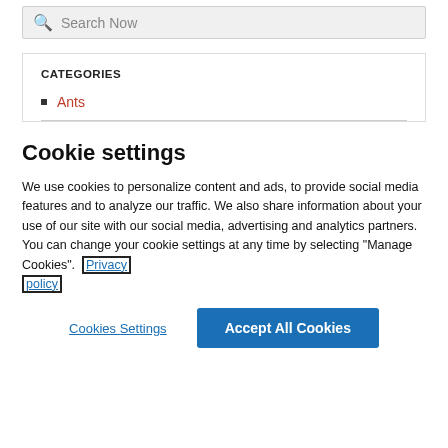[Figure (screenshot): Search bar with magnifying glass icon and 'Search Now' placeholder text on a light gray background]
CATEGORIES
Ants
Cookie settings
We use cookies to personalize content and ads, to provide social media features and to analyze our traffic. We also share information about your use of our site with our social media, advertising and analytics partners. You can change your cookie settings at any time by selecting "Manage Cookies". Privacy policy
Cookies Settings   Accept All Cookies